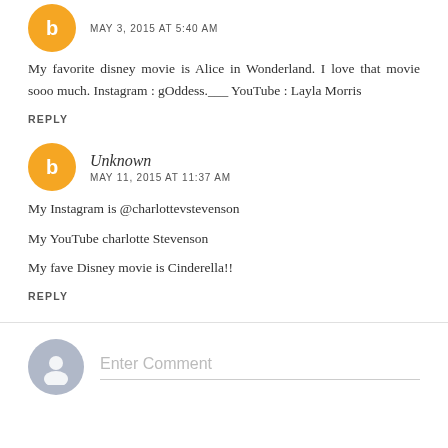MAY 3, 2015 AT 5:40 AM
My favorite disney movie is Alice in Wonderland. I love that movie sooo much. Instagram : gOddess.___ YouTube : Layla Morris
REPLY
Unknown
MAY 11, 2015 AT 11:37 AM
My Instagram is @charlottevstevenson
My YouTube charlotte Stevenson
My fave Disney movie is Cinderella!!
REPLY
Enter Comment